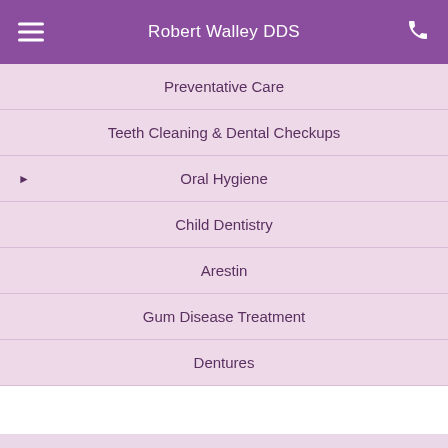Robert Walley DDS
Preventative Care
Teeth Cleaning & Dental Checkups
Oral Hygiene
Child Dentistry
Arestin
Gum Disease Treatment
Dentures
Contact Us for a Complimentary Smile Consultation